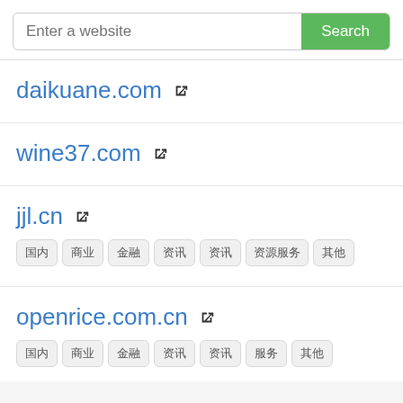Enter a website [Search bar with Search button]
daikuane.com ↗
wine37.com ↗
jjl.cn ↗
openrice.com.cn ↗